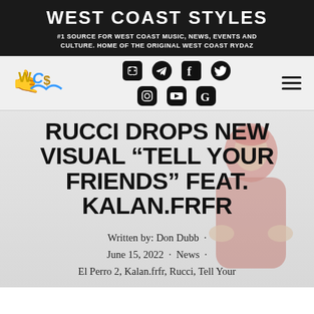WEST COAST STYLES
#1 SOURCE FOR WEST COAST MUSIC, NEWS, EVENTS AND CULTURE. HOME OF THE ORIGINAL WEST COAST RYDAZ
[Figure (logo): West Coast Styles logo with hand gesture, wave, and dollar sign icons, alongside social media icons (Discord, Telegram, Facebook, Twitter, Instagram, YouTube, Google) and hamburger menu]
RUCCI DROPS NEW VISUAL “TELL YOUR FRIENDS” FEAT. KALAN.FRFR
Written by: Don Dubb · June 15, 2022 · News · El Perro 2, Kalan.frfr, Rucci, Tell Your